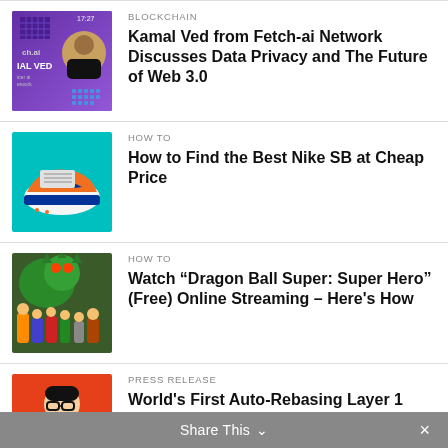[Figure (photo): Thumbnail image for Kamal Ved blockchain article - purple background with person photo]
BLOCKCHAIN
Kamal Ved from Fetch-ai Network Discusses Data Privacy and The Future of Web 3.0
[Figure (photo): Thumbnail image of orange and blue Nike SB sneaker on cyan background]
HOW TO
How to Find the Best Nike SB at Cheap Price
[Figure (photo): Thumbnail image of Dragon Ball Super characters with dragon]
HOW TO
Watch “Dragon Ball Super: Super Hero” (Free) Online Streaming – Here's How
[Figure (photo): Thumbnail of person on orange background with Safuu Blockchain logo]
PRESS RELEASE
World's First Auto-Rebasing Layer 1 Blockchain Is Set for 2023 Release
Share This ∨  ×